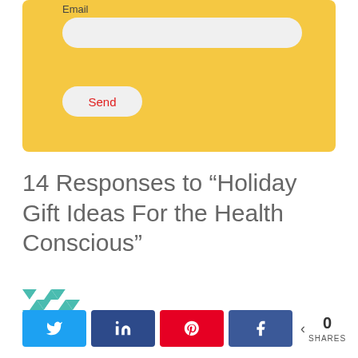[Figure (screenshot): Yellow email subscription form with an email input field and a Send button]
14 Responses to “Holiday Gift Ideas For the Health Conscious”
[Figure (logo): Small teal and white checkered/triangle pattern logo/avatar]
[Figure (infographic): Social share buttons row: Twitter, LinkedIn, Pinterest, Facebook, and a share count showing 0 SHARES]